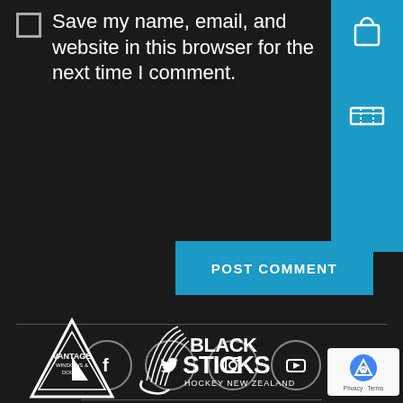Save my name, email, and website in this browser for the next time I comment.
[Figure (screenshot): Blue sidebar panel with shopping bag icon and ticket icon on cyan/blue background]
[Figure (screenshot): Blue POST COMMENT button]
[Figure (screenshot): Social media icons row: Facebook, Twitter, Instagram, YouTube - white icons in dark circular borders]
[Figure (logo): Vantage Windows & Doors triangular logo]
[Figure (logo): Black Sticks Hockey New Zealand logo]
[Figure (screenshot): Google reCAPTCHA badge with Privacy and Terms text]